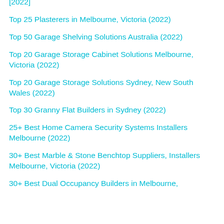[2022]
Top 25 Plasterers in Melbourne, Victoria (2022)
Top 50 Garage Shelving Solutions Australia (2022)
Top 20 Garage Storage Cabinet Solutions Melbourne, Victoria (2022)
Top 20 Garage Storage Solutions Sydney, New South Wales (2022)
Top 30 Granny Flat Builders in Sydney (2022)
25+ Best Home Camera Security Systems Installers Melbourne (2022)
30+ Best Marble & Stone Benchtop Suppliers, Installers Melbourne, Victoria (2022)
30+ Best Dual Occupancy Builders in Melbourne,